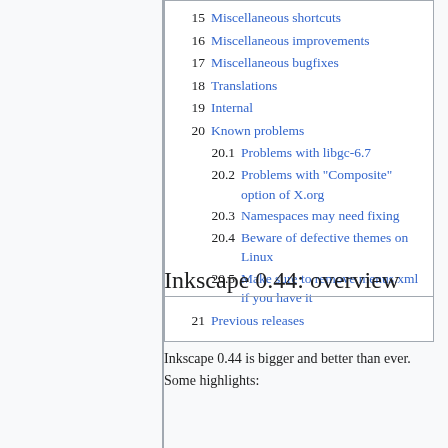15 Miscellaneous shortcuts
16 Miscellaneous improvements
17 Miscellaneous bugfixes
18 Translations
19 Internal
20 Known problems
20.1 Problems with libgc-6.7
20.2 Problems with "Composite" option of X.org
20.3 Namespaces may need fixing
20.4 Beware of defective themes on Linux
20.5 Make sure to remove menus.xml if you have it
21 Previous releases
Inkscape 0.44: overview
Inkscape 0.44 is bigger and better than ever. Some highlights: